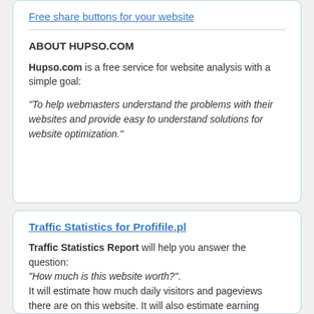Free share buttons for your website
ABOUT HUPSO.COM
Hupso.com is a free service for website analysis with a simple goal:
"To help webmasters understand the problems with their websites and provide easy to understand solutions for website optimization."
Traffic Statistics for Profifile.pl
Traffic Statistics Report will help you answer the question: "How much is this website worth?". It will estimate how much daily visitors and pageviews there are on this website. It will also estimate earning potential - how much this site could be making from displaying advertisements. Based on several factors, this report will give you estimated value of this website.